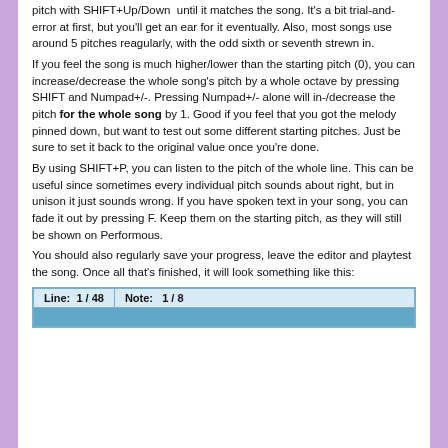pitch with SHIFT+Up/Down until it matches the song. It's a bit trial-and-error at first, but you'll get an ear for it eventually. Also, most songs use around 5 pitches reagularly, with the odd sixth or seventh strewn in.
If you feel the song is much higher/lower than the starting pitch (0), you can increase/decrease the whole song's pitch by a whole octave by pressing SHIFT and Numpad+/-. Pressing Numpad+/- alone will in-/decrease the pitch for the whole song by 1. Good if you feel that you got the melody pinned down, but want to test out some different starting pitches. Just be sure to set it back to the original value once you're done.
By using SHIFT+P, you can listen to the pitch of the whole line. This can be useful since sometimes every individual pitch sounds about right, but in unison it just sounds wrong. If you have spoken text in your song, you can fade it out by pressing F. Keep them on the starting pitch, as they will still be shown on Performous.
You should also regularly save your progress, leave the editor and playtest the song. Once all that's finished, it will look something like this:
[Figure (screenshot): Screenshot of a song editor interface showing 'Line: 1/48' and 'Note: 1/8' fields with a teal/blue background]